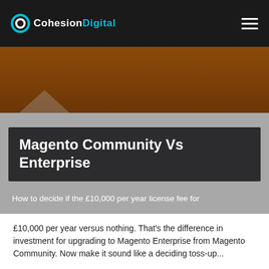CohesionDigital
[Figure (illustration): Brown/copper hero background image with a faint triangular chevron shape at the bottom left]
Magento Community Vs Enterprise
How to decide if the £10,000 per year license fee for
£10,000 per year versus nothing. That's the difference in investment for upgrading to Magento Enterprise from Magento Community. Now make it sound like a deciding toss-up...